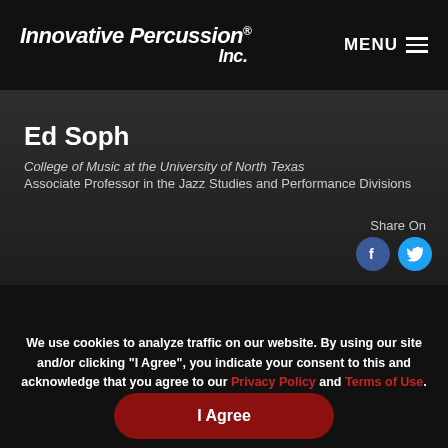Innovative Percussion Inc. MENU
Ed Soph
College of Music at the University of North Texas
Associate Professor in the Jazz Studies and Performance Divisions
Share On
[Figure (infographic): Facebook and Twitter social share icon buttons]
[Figure (photo): Partial image strip visible at page mid-bottom]
We use cookies to analyze traffic on our website. By using our site and/or clicking “I Agree”, you indicate your consent to this and acknowledge that you agree to our Privacy Policy and Terms of Use.
I Agree